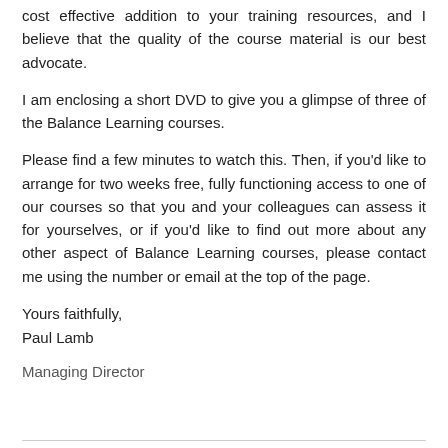cost effective addition to your training resources, and I believe that the quality of the course material is our best advocate.
I am enclosing a short DVD to give you a glimpse of three of the Balance Learning courses.
Please find a few minutes to watch this. Then, if you'd like to arrange for two weeks free, fully functioning access to one of our courses so that you and your colleagues can assess it for yourselves, or if you'd like to find out more about any other aspect of Balance Learning courses, please contact me using the number or email at the top of the page.
Yours faithfully,
Paul Lamb
Managing Director